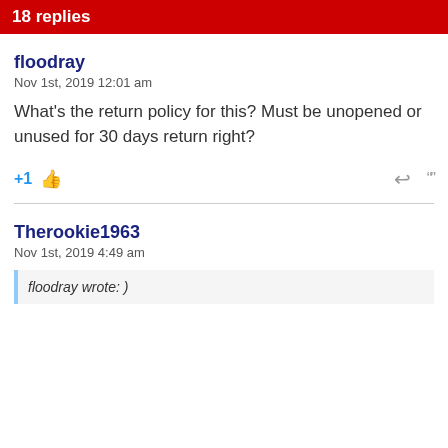18 replies
floodray
Nov 1st, 2019 12:01 am
What's the return policy for this? Must be unopened or unused for 30 days return right?
Therookie1963
Nov 1st, 2019 4:49 am
floodray wrote: